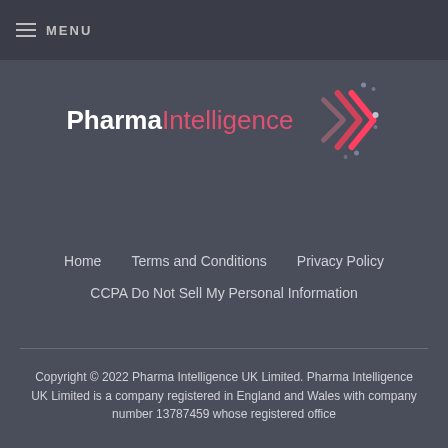≡ MENU
[Figure (logo): Pharma Intelligence logo with white bold 'Pharma', pink 'Intelligence' text and pink chevron/arrow graphic to the right]
Home
Terms and Conditions
Privacy Policy
CCPA Do Not Sell My Personal Information
Copyright © 2022 Pharma Intelligence UK Limited. Pharma Intelligence UK Limited is a company registered in England and Wales with company number 13787459 whose registered office